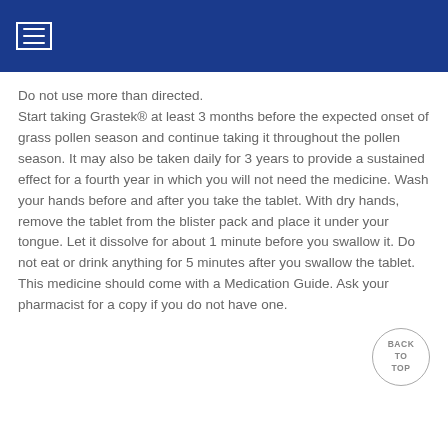≡
Do not use more than directed. Start taking Grastek® at least 3 months before the expected onset of grass pollen season and continue taking it throughout the pollen season. It may also be taken daily for 3 years to provide a sustained effect for a fourth year in which you will not need the medicine. Wash your hands before and after you take the tablet. With dry hands, remove the tablet from the blister pack and place it under your tongue. Let it dissolve for about 1 minute before you swallow it. Do not eat or drink anything for 5 minutes after you swallow the tablet. This medicine should come with a Medication Guide. Ask your pharmacist for a copy if you do not have one.